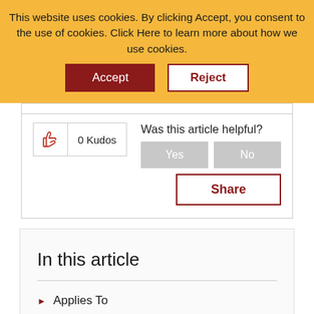This website uses cookies. By clicking Accept, you consent to the use of cookies. Click Here to learn more about how we use cookies.
Accept
Reject
0 Kudos
Was this article helpful?
Yes
No
Share
In this article
Applies To
Issue
Resolution